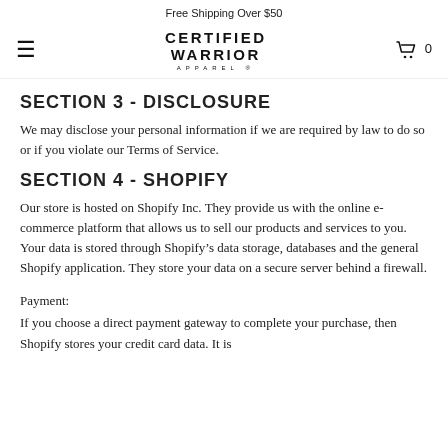Free Shipping Over $50
[Figure (logo): Certified Warrior Apparel logo with hamburger menu icon on left and shopping cart icon with 0 on right]
SECTION 3 - DISCLOSURE
We may disclose your personal information if we are required by law to do so or if you violate our Terms of Service.
SECTION 4 - SHOPIFY
Our store is hosted on Shopify Inc. They provide us with the online e-commerce platform that allows us to sell our products and services to you.
Your data is stored through Shopify’s data storage, databases and the general Shopify application. They store your data on a secure server behind a firewall.
Payment:
If you choose a direct payment gateway to complete your purchase, then Shopify stores your credit card data. It is